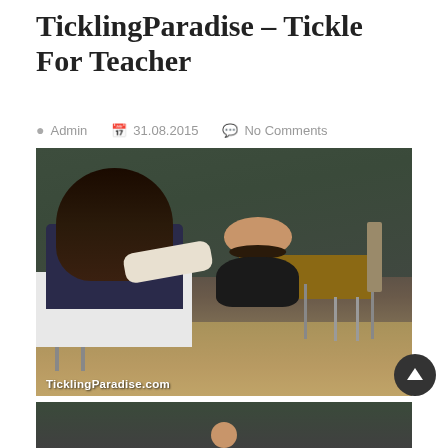TicklingParadise – Tickle For Teacher
Admin  31.08.2015  No Comments
[Figure (photo): Two women in a classroom setting. One woman with long dark hair sits facing away, appearing to tickle the feet/legs of another woman seated in a chair in front of a chalkboard, smiling. Watermark reads TicklingParadise.com at the bottom left.]
[Figure (photo): Partial view of a second photo, showing the top of a person's head against a dark background.]